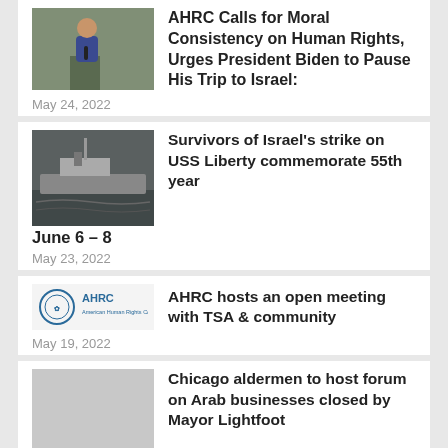[Figure (photo): Man in blue jacket speaking at podium]
AHRC Calls for Moral Consistency on Human Rights, Urges President Biden to Pause His Trip to Israel:
May 24, 2022
[Figure (photo): Black and white photo of USS Liberty ship at sea]
Survivors of Israel's strike on USS Liberty commemorate 55th year June 6 – 8
May 23, 2022
[Figure (logo): AHRC logo]
AHRC hosts an open meeting with TSA & community
May 19, 2022
Chicago aldermen to host forum on Arab businesses closed by Mayor Lightfoot
April 15, 2022